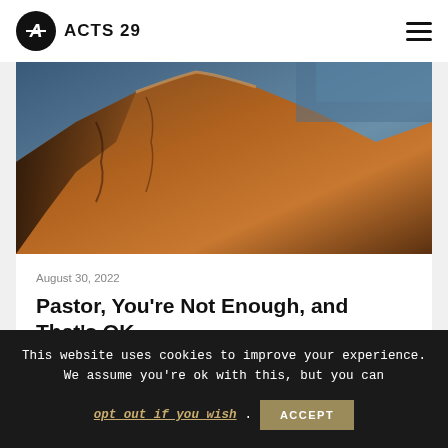ACTS 29
[Figure (photo): Mountain landscape with rocky terrain and dramatic sky]
August 30, 2022
Pastor, You're Not Enough, and That's OK
Adam Muhtaseb
This website uses cookies to improve your experience. We assume you're ok with this, but you can opt out if you wish. ACCEPT